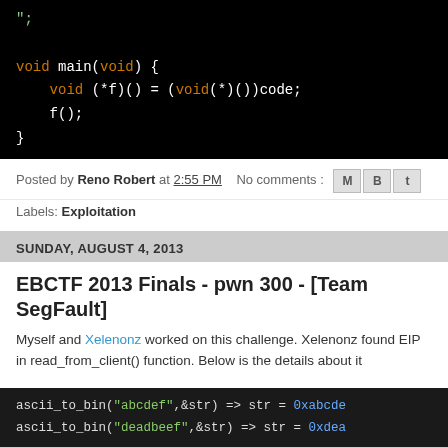[Figure (screenshot): Code block showing C code with void main(void) function, function pointer, colored syntax highlighting on black background]
Posted by Reno Robert at 2:55 PM   No comments :
Labels: Exploitation
SUNDAY, AUGUST 4, 2013
EBCTF 2013 Finals - pwn 300 - [Team SegFault]
Myself and Xelenonz worked on this challenge. Xelenonz found EIP in read_from_client() function. Below is the details about it
[Figure (screenshot): Code block showing ascii_to_bin function calls with hex output values]